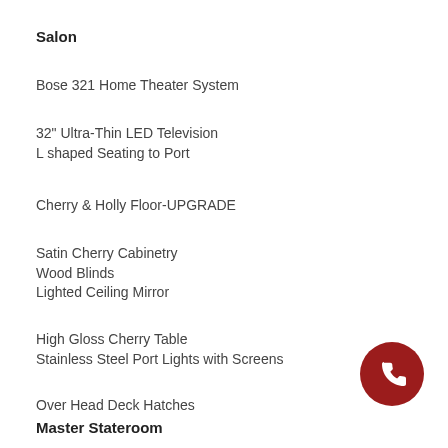Salon
Bose 321 Home Theater System
32" Ultra-Thin LED Television
L shaped Seating to Port
Cherry & Holly Floor-UPGRADE
Satin Cherry Cabinetry
Wood Blinds
Lighted Ceiling Mirror
High Gloss Cherry Table
Stainless Steel Port Lights with Screens
Over Head Deck Hatches
Master Stateroom